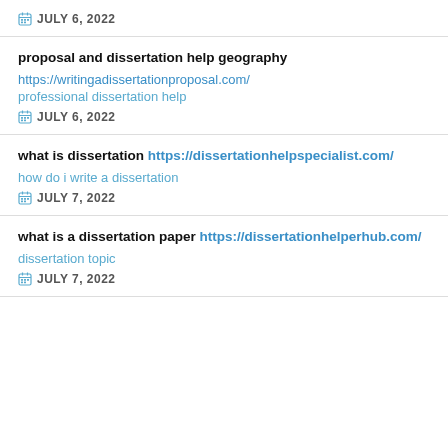JULY 6, 2022
proposal and dissertation help geography
https://writingadissertationproposal.com/
professional dissertation help
JULY 6, 2022
what is dissertation https://dissertationhelpspecialist.com/
how do i write a dissertation
JULY 7, 2022
what is a dissertation paper https://dissertationhelperhub.com/
dissertation topic
JULY 7, 2022